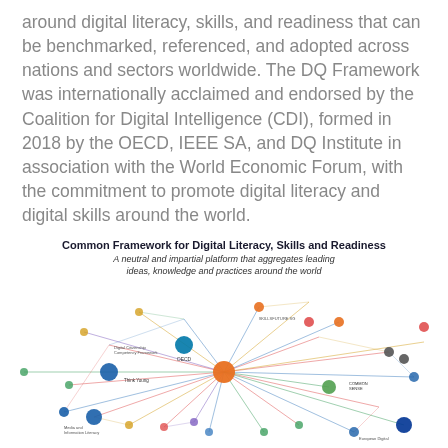around digital literacy, skills, and readiness that can be benchmarked, referenced, and adopted across nations and sectors worldwide. The DQ Framework was internationally acclaimed and endorsed by the Coalition for Digital Intelligence (CDI), formed in 2018 by the OECD, IEEE SA, and DQ Institute in association with the World Economic Forum, with the commitment to promote digital literacy and digital skills around the world.
[Figure (network-graph): A neutral and impartial platform that aggregates leading ideas, knowledge and practices around the world. Network graph showing interconnected nodes representing various digital literacy frameworks and organizations from around the world, connected by colored lines.]